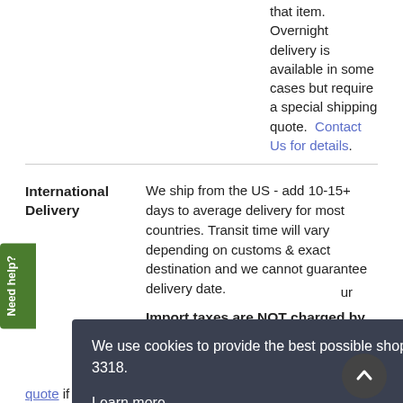that item. Overnight delivery is available in some cases but require a special shipping quote. Contact Us for details.
International Delivery
We ship from the US - add 10-15+ days to average delivery for most countries. Transit time will vary depending on customs & exact destination and we cannot guarantee delivery date.
Import taxes are NOT charged by our cart. Your country may charge import duties,
We use cookies to provide the best possible shopping experience. Don't want them? Call in your order US Toll Free 877-822-3318. Learn more
Got it!
quote if required - delivery dates are NOT